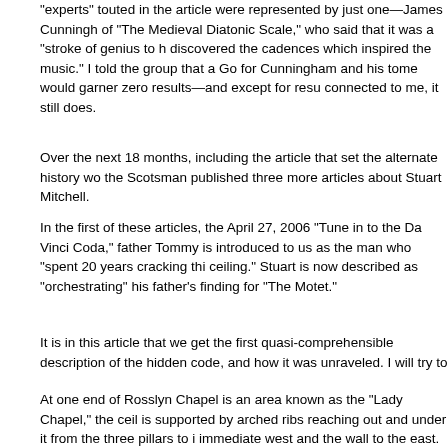“experts” touted in the article were represented by just one—James Cunningh of “The Medieval Diatonic Scale,” who said that it was a “stroke of genius to h discovered the cadences which inspired the music.” I told the group that a Go for Cunningham and his tome would garner zero results—and except for resu connected to me, it still does.
Over the next 18 months, including the article that set the alternate history wo the Scotsman published three more articles about Stuart Mitchell.
In the first of these articles, the April 27, 2006 “Tune in to the Da Vinci Coda,” father Tommy is introduced to us as the man who “spent 20 years cracking thi ceiling.” Stuart is now described as “orchestrating” his father’s finding for “The Motet.”
It is in this article that we get the first quasi-comprehensible description of the hidden code, and how it was unraveled. I will try to make it better than it was.
At one end of Rosslyn Chapel is an area known as the “Lady Chapel,” the ceil is supported by arched ribs reaching out and under it from the three pillars to i immediate west and the wall to the east.
From these ribs hang what have become known as the “Rosslyn Cubes,” and